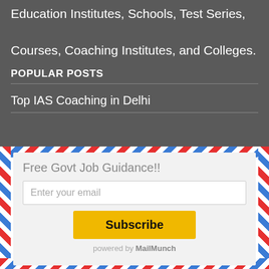Education Institutes, Schools, Test Series, Courses, Coaching Institutes, and Colleges.
POPULAR POSTS
Top IAS Coaching in Delhi
[Figure (other): Air mail border popup card with close button (×), 'Free Govt Job Guidance!!' heading, email input field, Subscribe button (yellow), and 'powered by MailMunch' footer]
Free Govt Job Guidance!!
Enter your email
Subscribe
powered by MailMunch